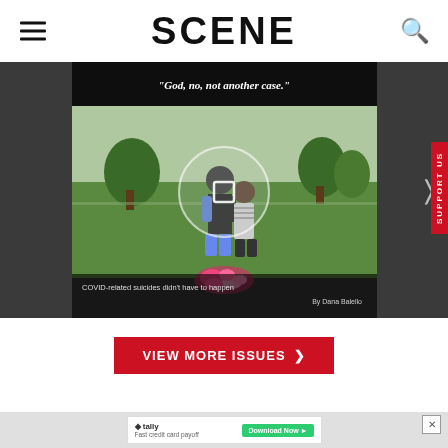SCENE
[Figure (photo): Carousel image showing two people standing at a grave with flowers. Quote overlay reads: "God, no, not another case." Caption: COVID-related suicides didn't have to happen. By Dana Balella.]
VIEW MORE ISSUES ❯
[Figure (screenshot): Advertisement banner for Tally Fast credit card payoff app with a Download Now button.]